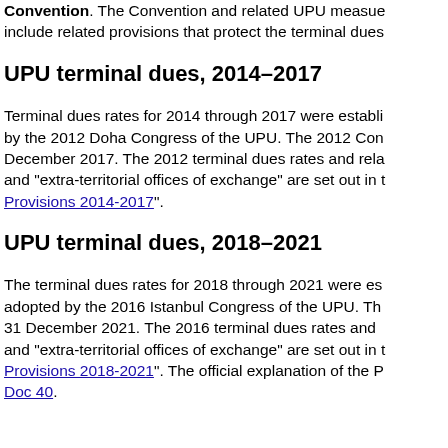Convention. The Convention and related UPU measures include related provisions that protect the terminal dues
UPU terminal dues, 2014–2017
Terminal dues rates for 2014 through 2017 were established by the 2012 Doha Congress of the UPU. The 2012 Congress ran through December 2017. The 2012 terminal dues rates and related provisions for and "extra-territorial offices of exchange" are set out in the "Provisions 2014-2017".
UPU terminal dues, 2018–2021
The terminal dues rates for 2018 through 2021 were established adopted by the 2016 Istanbul Congress of the UPU. The Congress ran through 31 December 2021. The 2016 terminal dues rates and related provisions for and "extra-territorial offices of exchange" are set out in the "Provisions 2018-2021". The official explanation of the P Doc 40.